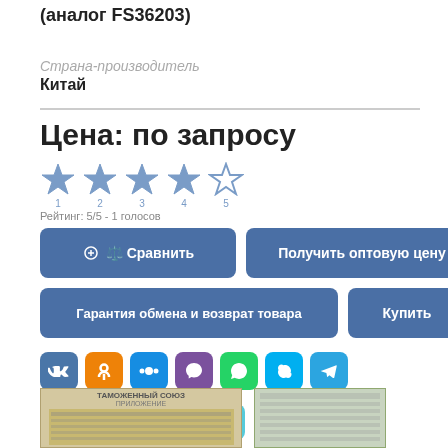(аналог FS36203)
Страна-производитель
Китай
Цена: по запросу
[Figure (infographic): 5-star rating widget with stars numbered 1-5, rating text: Рейтинг: 5/5 - 1 голосов]
Рейтинг: 5/5 - 1 голосов
⚖️ Сравнить
Получить оптовую цену
Гарантия обмена и возврат товара
Купить
[Figure (infographic): Social media share buttons: VK, Odnoklassniki, MyWorld, Viber, WhatsApp, Skype, Telegram]
# топливные фильтры
[Figure (photo): Two document images at the bottom: Таможенный союз certificate document and another document]